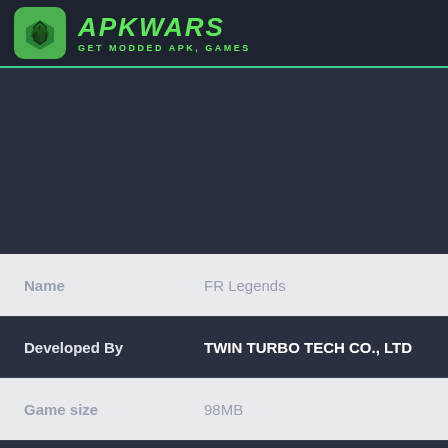APKWARS - GET MODDED APK, GAMES
[Figure (other): Advertisement/blank area placeholder in dark background]
| Field | Value |
| --- | --- |
| Name | FR Legends |
| Developed By | TWIN TURBO TECH CO., LTD |
| Game size | 98MB |
| Version | 0.3.1 |